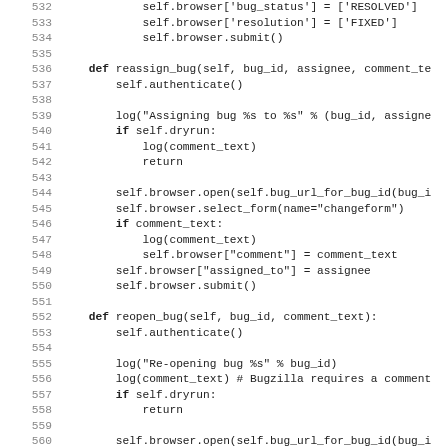[Figure (screenshot): Source code listing in monospace font showing Python class methods: lines 532-563 covering bug status/resolution/submit, reassign_bug method, and reopen_bug method with browser automation code.]